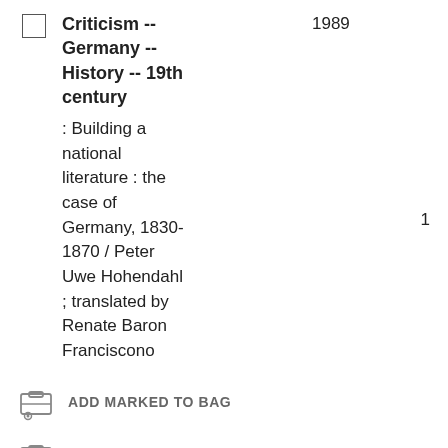Criticism -- Germany -- History -- 19th century
1989
: Building a national literature : the case of Germany, 1830-1870 / Peter Uwe Hohendahl ; translated by Renate Baron Franciscono
1
ADD MARKED TO BAG
ADD ALL ON PAGE